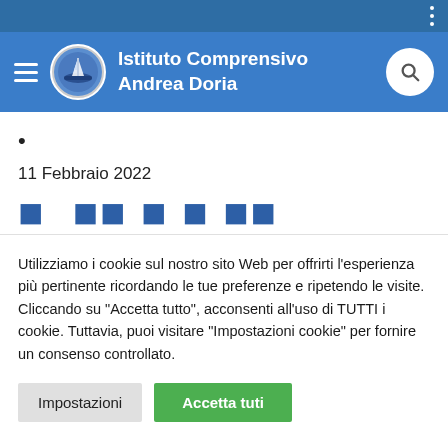Istituto Comprensivo Andrea Doria
•
11 Febbraio 2022
Utilizziamo i cookie sul nostro sito Web per offrirti l'esperienza più pertinente ricordando le tue preferenze e ripetendo le visite. Cliccando su "Accetta tutto", acconsenti all'uso di TUTTI i cookie. Tuttavia, puoi visitare "Impostazioni cookie" per fornire un consenso controllato.
Impostazioni | Accetta tuti